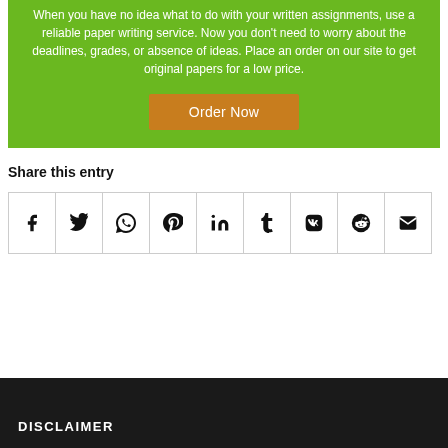When you have no idea what to do with your written assignments, use a reliable paper writing service. Now you don't need to worry about the deadlines, grades, or absence of ideas. Place an order on our site to get original papers for a low price.
Order Now
Share this entry
[Figure (infographic): Row of 9 social sharing icon buttons: Facebook, Twitter, WhatsApp, Pinterest, LinkedIn, Tumblr, VK, Reddit, Email]
DISCLAIMER